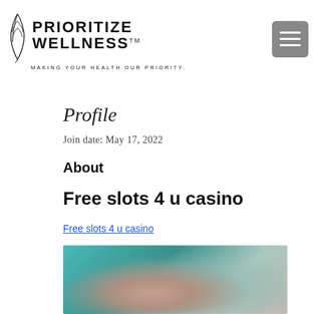[Figure (logo): Prioritize Wellness logo with leaf/feather illustration and tagline MAKING YOUR HEALTH OUR PRIORITY. followed by a hamburger menu button]
Profile
Join date: May 17, 2022
About
Free slots 4 u casino
Free slots 4 u casino
[Figure (photo): Blurred/obscured photo with teal and warm tones at the bottom of the page]